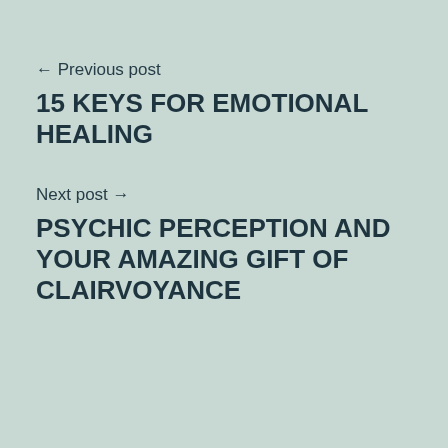← Previous post
15 KEYS FOR EMOTIONAL HEALING
Next post →
PSYCHIC PERCEPTION AND YOUR AMAZING GIFT OF CLAIRVOYANCE